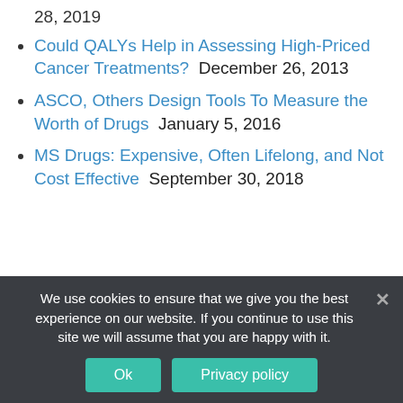28, 2019
Could QALYs Help in Assessing High-Priced Cancer Treatments?  December 26, 2013
ASCO, Others Design Tools To Measure the Worth of Drugs  January 5, 2016
MS Drugs: Expensive, Often Lifelong, and Not Cost Effective  September 30, 2018
[Figure (photo): Circular profile photo of a person with dark hair, partially visible, inside a bordered card.]
We use cookies to ensure that we give you the best experience on our website. If you continue to use this site we will assume that you are happy with it.